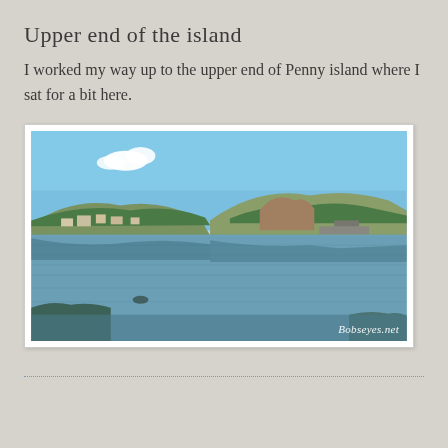Upper end of the island
I worked my way up to the upper end of Penny island where I sat for a bit here.
[Figure (photo): Outdoor landscape photo showing a calm river or estuary in the foreground with reflections of hills covered in trees, houses along the shoreline, and a blue sky with a small cloud. Watermark reads 'Bobseyes.net' in bottom right corner.]